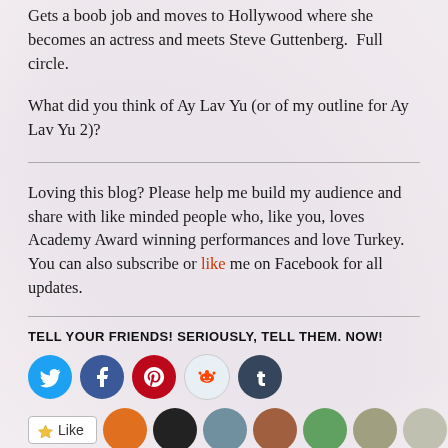Gets a boob job and moves to Hollywood where she becomes an actress and meets Steve Guttenberg. Full circle.
What did you think of Ay Lav Yu (or of my outline for Ay Lav Yu 2)?
Loving this blog? Please help me build my audience and share with like minded people who, like you, loves Academy Award winning performances and love Turkey. You can also subscribe or like me on Facebook for all updates.
TELL YOUR FRIENDS! SERIOUSLY, TELL THEM. NOW!
[Figure (infographic): Row of five social media share buttons (circular icons): Twitter (blue), Facebook (dark blue), Pinterest (red), Reddit (light grey), Tumblr (dark teal)]
[Figure (infographic): Like button and a row of user avatar photos]